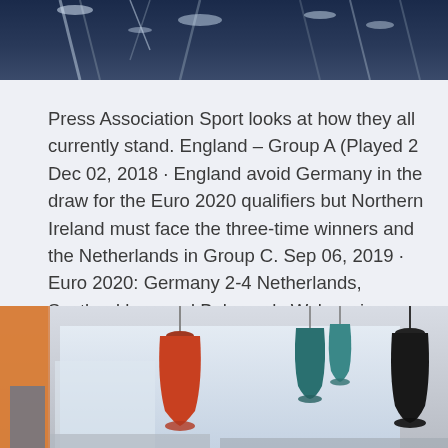[Figure (photo): Top portion of a photo showing snowy tree branches against a dark blue sky]
Press Association Sport looks at how they all currently stand. England – Group A (Played 2 Dec 02, 2018 · England avoid Germany in the draw for the Euro 2020 qualifiers but Northern Ireland must face the three-time winners and the Netherlands in Group C. Sep 06, 2019 · Euro 2020: Germany 2-4 Netherlands, Scotland lose and Bale seals Wales win – as it happened England Under-21s win 3-2 in Turkey! Scotland v Russia.
[Figure (photo): Bottom portion showing pendant lamps hanging — an orange/red lamp on the left, teal/green lamps in the center, and a dark silhouette lamp on the right, against a bright window background]